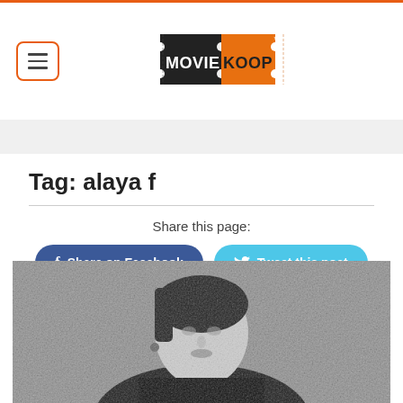[Figure (logo): MovieKoop logo - black and orange ticket-shaped logo with text MOVIEKOOP]
Tag: alaya f
Share this page:
Share on Facebook
Tweet this post
[Figure (photo): Black and white photo of a young woman (Alaya F) looking upward, against a textured background, wearing dark clothing with earrings]